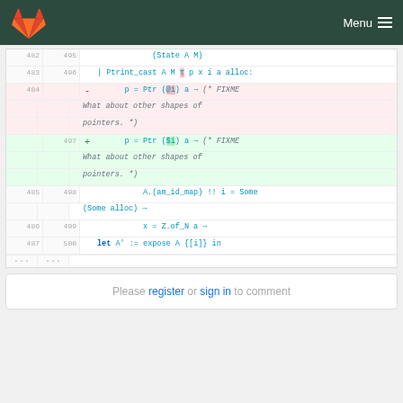GitLab — Menu
[Figure (screenshot): Code diff view showing lines 482-487 (old) and 495-500 (new) of a source file. Removed lines in pink background, added lines in green background. Code uses Coq/OCaml-like syntax with Ptr, am_id_map, Z.of_N, expose constructs.]
Please register or sign in to comment